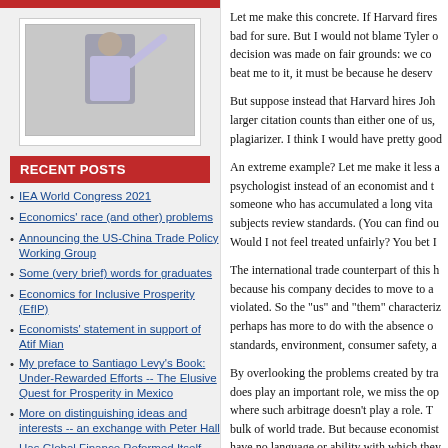[Figure (photo): Person gesturing in front of a chalkboard or whiteboard]
RECENT POSTS
IEA World Congress 2021
Economics' race (and other) problems
Announcing the US-China Trade Policy Working Group
Some (very brief) words for graduates
Economics for Inclusive Prosperity (EfIP)
Economists' statement in support of Atif Mian
My preface to Santiago Levy's Book: Under-Rewarded Efforts -- The Elusive Quest for Prosperity in Mexico
More on distinguishing ideas and interests -- an exchange with Peter Hall
Has Global Finance Reformed Itself More Than It
Let me make this concrete. If Harvard fires bad for sure. But I would not blame Tyler o decision was made on fair grounds: we co beat me to it, it must be because he deserv
But suppose instead that Harvard hires Joh larger citation counts than either one of us, plagiarizer. I think I would have pretty good
An extreme example? Let me make it less a psychologist instead of an economist and t someone who has accumulated a long vita subjects review standards. (You can find ou Would I not feel treated unfairly? You bet I
The international trade counterpart of this h because his company decides to move to a violated. So the "us" and "them" characterize perhaps has more to do with the absence o standards, environment, consumer safety, a
By overlooking the problems created by tra does play an important role, we miss the op where such arbitrage doesn't play a role. T bulk of world trade. But because economist have no language or ability with which they